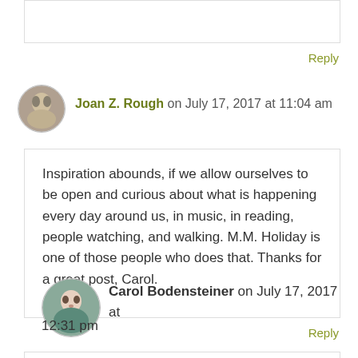[Figure (photo): Partial comment box visible at top of page (cut off)]
Reply
[Figure (photo): Avatar photo of Joan Z. Rough, black and white image]
Joan Z. Rough on July 17, 2017 at 11:04 am
Inspiration abounds, if we allow ourselves to be open and curious about what is happening every day around us, in music, in reading, people watching, and walking. M.M. Holiday is one of those people who does that. Thanks for a great post, Carol.
Reply
[Figure (photo): Avatar photo of Carol Bodensteiner, color photo of woman]
Carol Bodensteiner on July 17, 2017 at 12:31 pm